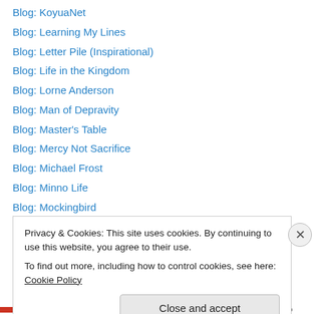Blog: KoyuaNet
Blog: Learning My Lines
Blog: Letter Pile (Inspirational)
Blog: Life in the Kingdom
Blog: Lorne Anderson
Blog: Man of Depravity
Blog: Master's Table
Blog: Mercy Not Sacrifice
Blog: Michael Frost
Blog: Minno Life
Blog: Mockingbird
Blog: My Morning Meal
Blog: Mystery and Meaning
Privacy & Cookies: This site uses cookies. By continuing to use this website, you agree to their use.
To find out more, including how to control cookies, see here: Cookie Policy
Close and accept